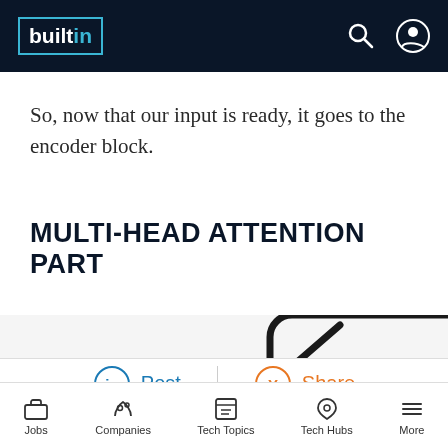builtin
So, now that our input is ready, it goes to the encoder block.
MULTI-HEAD ATTENTION PART
[Figure (schematic): Partial diagram showing a rounded rectangle schematic element at bottom right, partially cropped]
Post | Share
Jobs  Companies  Tech Topics  Tech Hubs  More